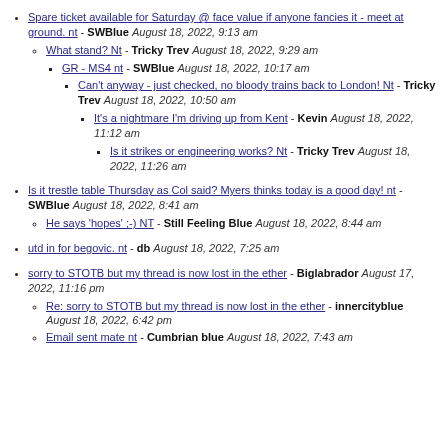Spare ticket available for Saturday @ face value if anyone fancies it - meet at ground. nt - SWBlue August 18, 2022, 9:13 am
What stand? Nt - Tricky Trev August 18, 2022, 9:29 am
GR - MS4 nt - SWBlue August 18, 2022, 10:17 am
Can't anyway - just checked, no bloody trains back to London! Nt - Tricky Trev August 18, 2022, 10:50 am
It's a nightmare I'm driving up from Kent - Kevin August 18, 2022, 11:12 am
Is it strikes or engineering works? Nt - Tricky Trev August 18, 2022, 11:26 am
Is it trestle table Thursday as Col said? Myers thinks today is a good day! nt - SWBlue August 18, 2022, 8:41 am
He says 'hopes' ;-) NT - Still Feeling Blue August 18, 2022, 8:44 am
utd in for begovic. nt - db August 18, 2022, 7:25 am
sorry to STOTB but my thread is now lost in the ether - Biglabrador August 17, 2022, 11:16 pm
Re: sorry to STOTB but my thread is now lost in the ether - innercityblue August 18, 2022, 6:42 pm
Email sent mate nt - Cumbrian blue August 18, 2022, 7:43 am